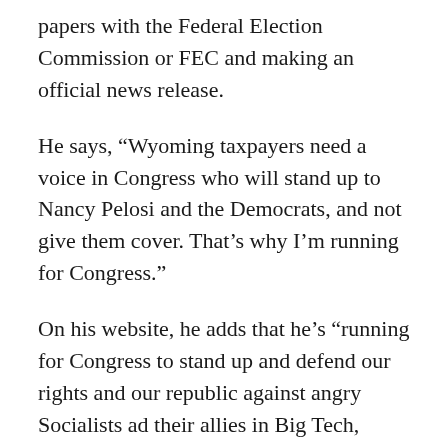papers with the Federal Election Commission or FEC and making an official news release.
He says, “Wyoming taxpayers need a voice in Congress who will stand up to Nancy Pelosi and the Democrats, and not give them cover. That’s why I’m running for Congress.”
On his website, he adds that he’s “running for Congress to stand up and defend our rights and our republic against angry Socialists ad their allies in Big Tech, academia, and the Fake News Media. Our way of life is being threatened by the Socialist way of thinking. It’s time to confront, expose and defeat these radicals before they take away our freedoms and turn America into a weak European-style politically correct welfare state. That’s why I’m running for Congress.”